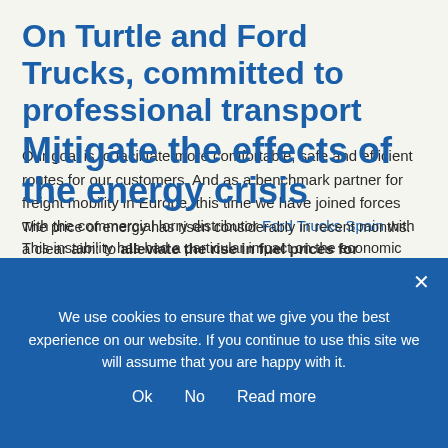On Turtle and Ford Trucks, committed to professional transport
Our goal is to facilitate more comfortable, safe and efficient routes for our customers. And as a benchmark partner for freight mobility in Europe, this time we have joined forces with the commercial lorry distributor Ford Trucks Spain with a clear aim: to alleviate the rise in fuel prices for professional transport. Under the slogan "Our goal, your peace of mind", we thus want to reward the work of professional drivers with a new support campaign involving a weekly draw offering the chance to win one of three fuel vouchers worth 500 euros.
Mitigate the effects of the energy crisis
The price of energy has risen considerably in recent months. This instability has had a particular impact on the economic
[Figure (screenshot): Cookie consent banner overlay in blue background with text: 'We use cookies to ensure that we give you the best experience on our website. If you continue to use this site we will assume that you are happy with it.' with Ok, No, Read more buttons and a close X button.]